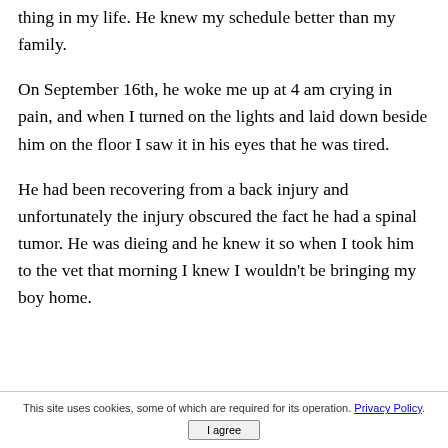thing in my life. He knew my schedule better than my family.
On September 16th, he woke me up at 4 am crying in pain, and when I turned on the lights and laid down beside him on the floor I saw it in his eyes that he was tired.
He had been recovering from a back injury and unfortunately the injury obscured the fact he had a spinal tumor. He was dieing and he knew it so when I took him to the vet that morning I knew I wouldn't be bringing my boy home.
This site uses cookies, some of which are required for its operation. Privacy Policy. I agree